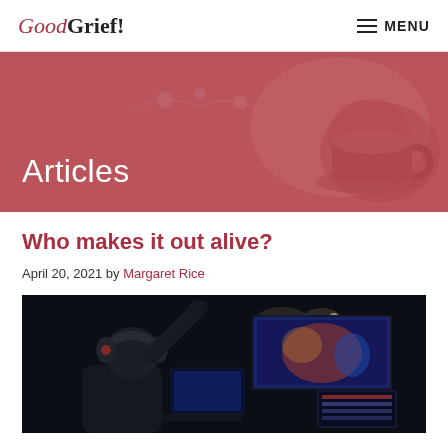GoodGrief! | MENU
Articles
Who makes it out alive?
April 20, 2021 by Margaret Rice
[Figure (photo): A person wearing gaming headphones seated at a gaming station with large colorful screens in an esports venue at night]